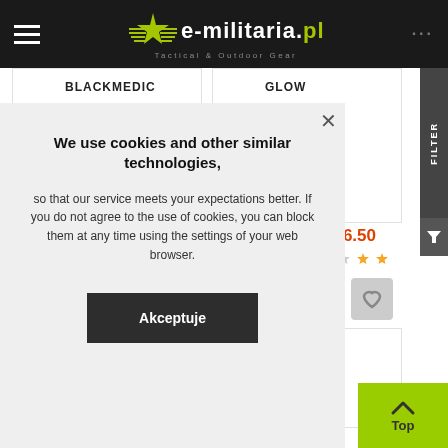e-militaria.pl Tactical & Outdoor Gear
BLACKMEDIC
GLOW
€6.50
[Figure (screenshot): Cookie consent overlay on e-militaria.pl website with close button, price €6.50, stars rating, wishlist heart icon, FILTER sidebar, and Top button]
We use cookies and other similar technologies,
so that our service meets your expectations better. If you do not agree to the use of cookies, you can block them at any time using the settings of your web browser.
Akceptuje
Top